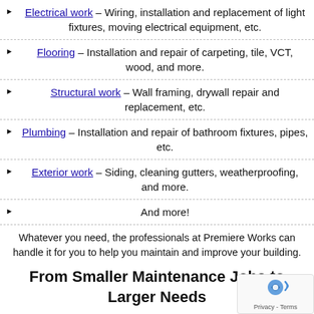Electrical work – Wiring, installation and replacement of light fixtures, moving electrical equipment, etc.
Flooring – Installation and repair of carpeting, tile, VCT, wood, and more.
Structural work – Wall framing, drywall repair and replacement, etc.
Plumbing – Installation and repair of bathroom fixtures, pipes, etc.
Exterior work – Siding, cleaning gutters, weatherproofing, and more.
And more!
Whatever you need, the professionals at Premiere Works can handle it for you to help you maintain and improve your building.
From Smaller Maintenance Jobs to Larger Needs
At Premiere Works, In addition to handling small maintenance are also happy to service larger needs, including tenant impro remodeling, and more. From water remediation to bringing an older